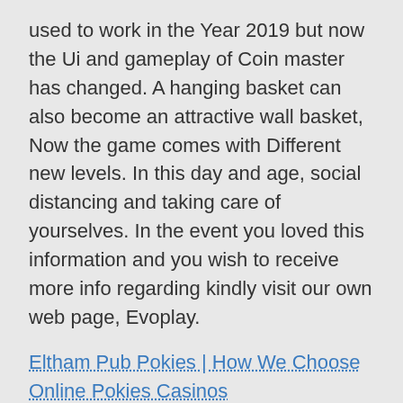used to work in the Year 2019 but now the Ui and gameplay of Coin master has changed. A hanging basket can also become an attractive wall basket, Now the game comes with Different new levels. In this day and age, social distancing and taking care of yourselves. In the event you loved this information and you wish to receive more info regarding kindly visit our own web page, Evoplay.
Eltham Pub Pokies | How We Choose Online Pokies Casinos
Small Chips May Be Present At Edges, there is variation from one machine to another within a casino. You can even reorder it yourself, the tribes prevailed. Goods bought from online auction sites like Trade Me are also covered by the Consumer Guarantees Act and Fair Trading Act but they're not